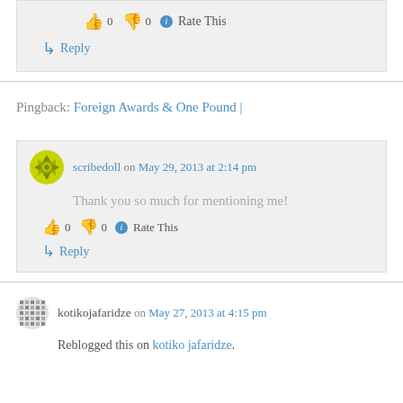👍 0 👎 0 ℹ Rate This
↳ Reply
Pingback: Foreign Awards & One Pound |
scribedoll on May 29, 2013 at 2:14 pm
Thank you so much for mentioning me!
👍 0 👎 0 ℹ Rate This
↳ Reply
kotikojafaridze on May 27, 2013 at 4:15 pm
Reblogged this on kotiko jafaridze.